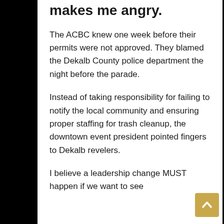makes me angry.
The ACBC knew one week before their permits were not approved. They blamed the Dekalb County police department the night before the parade.
Instead of taking responsibility for failing to notify the local community and ensuring proper staffing for trash cleanup, the downtown event president pointed fingers to Dekalb revelers.
I believe a leadership change MUST happen if we want to see